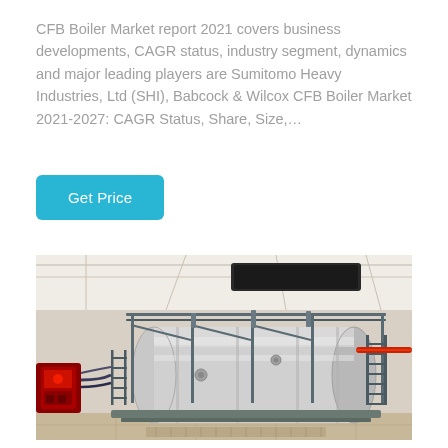CFB Boiler Market report 2021 covers business developments, CAGR status, industry segment, dynamics and major leading players are Sumitomo Heavy Industries, Ltd (SHI), Babcock & Wilcox CFB Boiler Market 2021-2027: CAGR Status, Share, Size,…
[Figure (other): Button labeled 'Get Price' with cyan/teal background color]
[Figure (photo): Industrial boiler installation photograph showing a large horizontal cylindrical silver/metallic boiler vessel with metal scaffolding/ladders, pipes including red pipes, control equipment on the left side with red components, inside an industrial building with white ceiling and structural beams.]